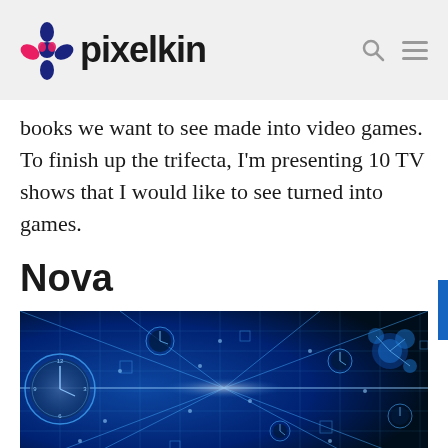pixelkin
books we want to see made into video games. To finish up the trifecta, I'm presenting 10 TV shows that I would like to see turned into games.
Nova
[Figure (photo): A science-themed image with glowing blue light, clocks, and geometric grid patterns on a dark blue background, associated with the Nova TV show.]